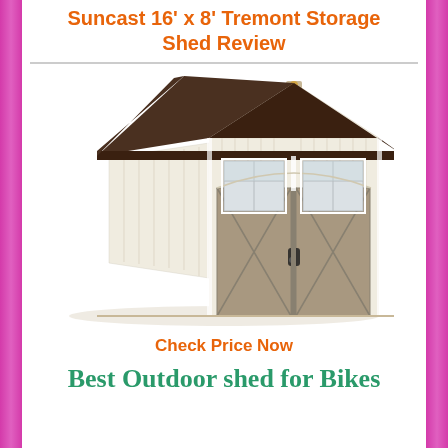Suncast 16' x 8' Tremont Storage Shed Review
[Figure (photo): Photo of a large cream/off-white Suncast Tremont storage shed with dark brown roof, double doors with windows, and an arched decorative gable.]
Check Price Now
Best Outdoor shed for Bikes